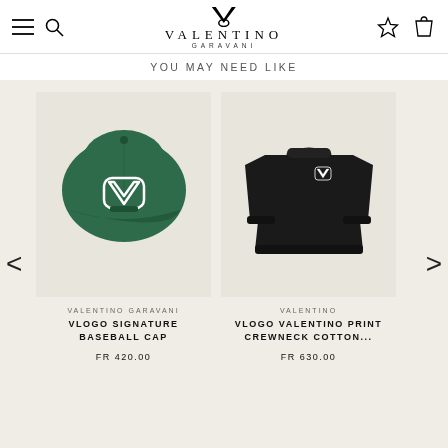Valentino Garavani — Navigation header with menu, search, wishlist, and cart icons
YOU MAY NEED LIKE
[Figure (photo): Dark green Valentino Garavani baseball cap with white VLogo on a beige background]
VALENTINO GARAVANI
VLOGO SIGNATURE BASEBALL CAP
FR 420.00
[Figure (photo): Black Valentino crewneck cotton sweater with small VLogo print on chest, on a beige background]
VALENTINO
VLOGO VALENTINO PRINT CREWNECK COTTON...
FR 630.00